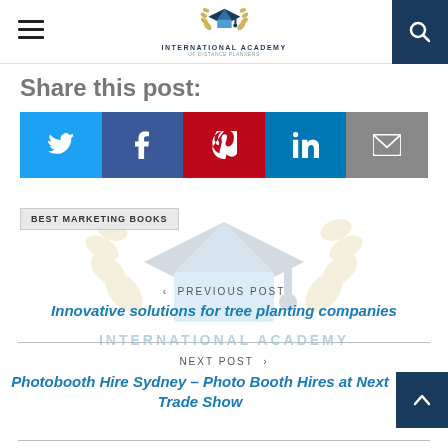International Academy
Share this post:
[Figure (infographic): Social sharing buttons: Twitter (blue), Facebook (dark blue), Pinterest (red), LinkedIn (light blue), Email (grey)]
[Figure (logo): International Academy watermark logo with graduation cap icon and text]
BEST MARKETING BOOKS
< PREVIOUS POST
Innovative solutions for tree planting companies
NEXT POST >
Photobooth Hire Sydney – Photo Booth Hires at Next Trade Show